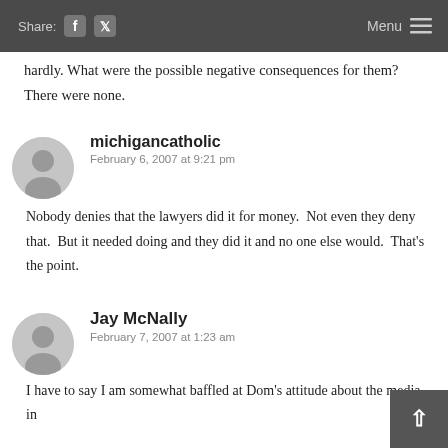Share: [Facebook] [Twitter]   Menu ≡
hardly. What were the possible negative consequences for them? There were none.
michigancatholic
February 6, 2007 at 9:21 pm
Nobody denies that the lawyers did it for money.  Not even they deny that.  But it needed doing and they did it and no one else would.  That's the point.
Jay McNally
February 7, 2007 at 1:23 am
I have to say I am somewhat baffled at Dom's attitude about the media in